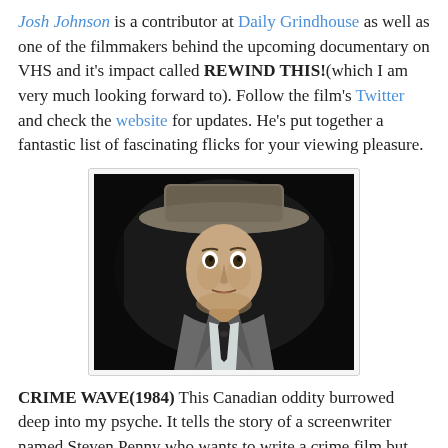Josh Johnson is a contributor at Daily Grindhouse as well as one of the filmmakers behind the upcoming documentary on VHS and it's impact called REWIND THIS!(which I am very much looking forward to). Follow the film's Twitter and check the website for updates. He's put together a fantastic list of fascinating flicks for your viewing pleasure.
[Figure (photo): A man in a grey suit and cowboy hat, lit dramatically against a dark background, looking intensely at the camera. This appears to be a film still.]
CRIME WAVE(1984) This Canadian oddity burrowed deep into my psyche. It tells the story of a screenwriter named Steven Penny who wants to write a crime film but struggles to